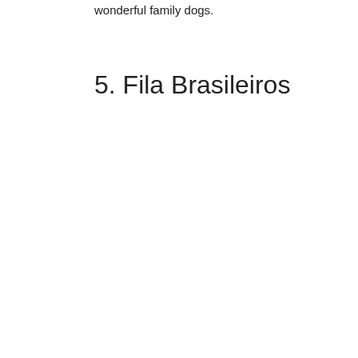wonderful family dogs.
5. Fila Brasileiros